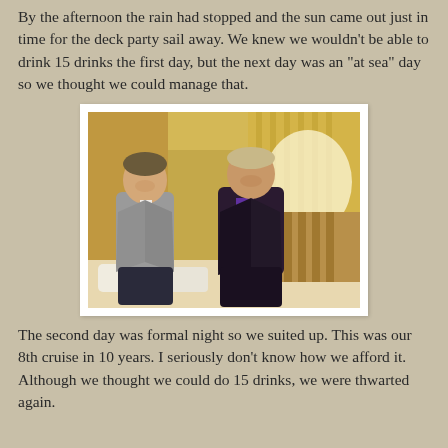By the afternoon the rain had stopped and the sun came out just in time for the deck party sail away. We knew we wouldn't be able to drink 15 drinks the first day, but the next day was an "at sea" day so we thought we could manage that.
[Figure (photo): Two men in formal attire sitting together in a cruise ship cabin. The man on the left wears a grey suit with a dark red tie; the man on the right wears a purple shirt and dark jacket. Gold curtains and striped furniture visible in the background.]
The second day was formal night so we suited up. This was our 8th cruise in 10 years. I seriously don't know how we afford it. Although we thought we could do 15 drinks, we were thwarted again.